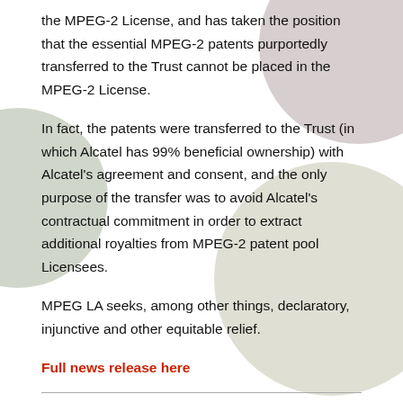the MPEG-2 License, and has taken the position that the essential MPEG-2 patents purportedly transferred to the Trust cannot be placed in the MPEG-2 License.
In fact, the patents were transferred to the Trust (in which Alcatel has 99% beneficial ownership) with Alcatel's agreement and consent, and the only purpose of the transfer was to avoid Alcatel's contractual commitment in order to extract additional royalties from MPEG-2 patent pool Licensees.
MPEG LA seeks, among other things, declaratory, injunctive and other equitable relief.
Full news release here
MPEG LA ISSUES ATSC PATENT PORTFOLIO LICENSE